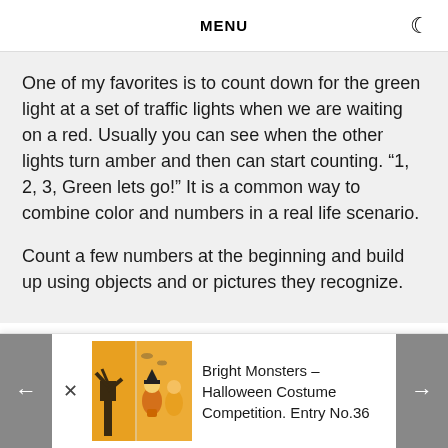MENU
One of my favorites is to count down for the green light at a set of traffic lights when we are waiting on a red. Usually you can see when the other lights turn amber and then can start counting. “1, 2, 3, Green lets go!” It is a common way to combine color and numbers in a real life scenario.
Count a few numbers at the beginning and build up using objects and or pictures they recognize.
[Figure (photo): Halloween-themed image with orange background showing costume characters, bats, and spooky elements]
Bright Monsters – Halloween Costume Competition. Entry No.36